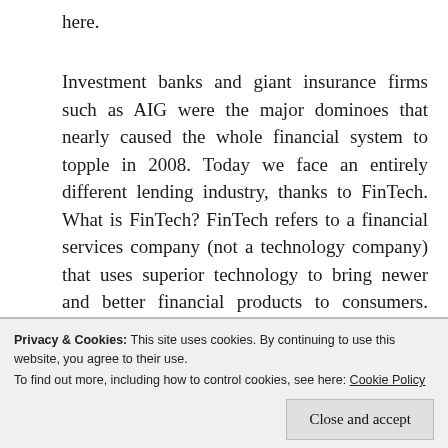here.
Investment banks and giant insurance firms such as AIG were the major dominoes that nearly caused the whole financial system to topple in 2008. Today we face an entirely different lending industry, thanks to FinTech. What is FinTech? FinTech refers to a financial services company (not a technology company) that uses superior technology to bring newer and better financial products to consumers. Many of today's FinTech companies call themselves technology companies or big data companies, but I
Privacy & Cookies: This site uses cookies. By continuing to use this website, you agree to their use.
To find out more, including how to control cookies, see here: Cookie Policy
Close and accept
good news not only for the investors, borrowers, and